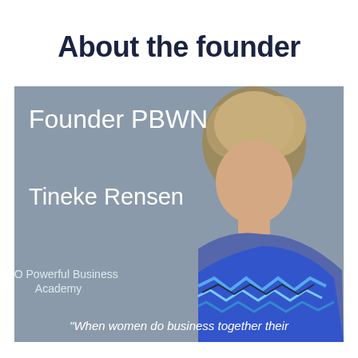About the founder
[Figure (photo): Profile photo card of Tineke Rensen, Founder PBWN, CEO Powerful Business Academy, with quote 'When women do business together their']